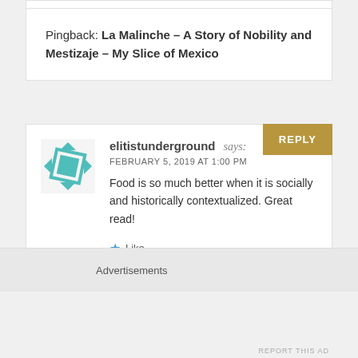Pingback: La Malinche – A Story of Nobility and Mestizaje – My Slice of Mexico
elitistunderground says: FEBRUARY 5, 2019 AT 1:00 PM Food is so much better when it is socially and historically contextualized. Great read!
Like
Advertisements
REPORT THIS AD